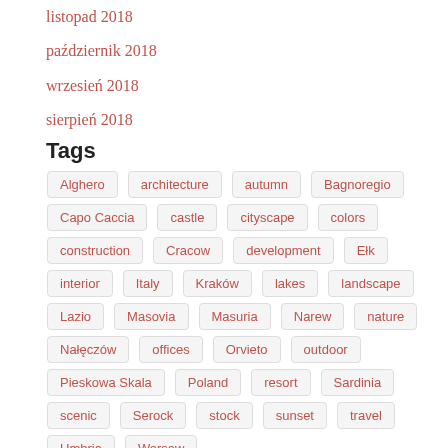listopad 2018
październik 2018
wrzesień 2018
sierpień 2018
Tags
Alghero architecture autumn Bagnoregio Capo Caccia castle cityscape colors construction Cracow development Ełk interior Italy Kraków lakes landscape Lazio Masovia Masuria Narew nature Nałęczów offices Orvieto outdoor Pieskowa Skala Poland resort Sardinia scenic Serock stock sunset travel Umbria Warsaw